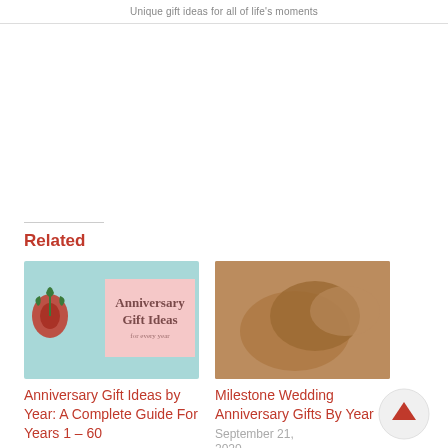Unique gift ideas for all of life's moments
Related
[Figure (photo): Anniversary Gift Ideas book cover with red rose on teal background and pink text box]
Anniversary Gift Ideas by Year: A Complete Guide For Years 1 – 60
July 7, 2017
In 'Gift Guides'
[Figure (photo): Close-up of two hands clasped together, warm brown tones]
Milestone Wedding Anniversary Gifts By Year
September 21, 2020
In ...